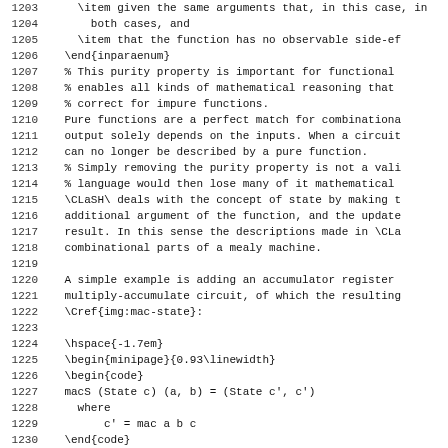Source code listing with line numbers 1203-1235, showing LaTeX source for a document about CLaSH hardware description language, covering purity properties of functions, combinational circuits, and a macS accumulator register example with code blocks.